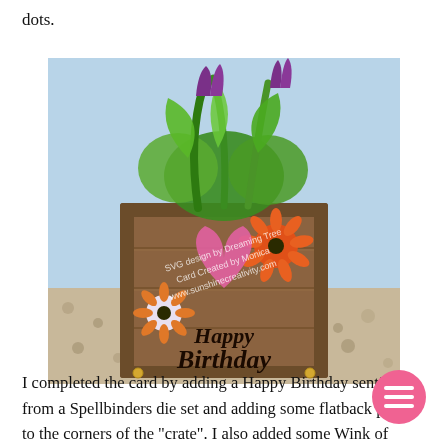dots.
[Figure (photo): A handmade Happy Birthday card designed as a wooden crate filled with colorful paper flowers and greenery, sitting on gravel. The card reads 'Happy Birthday' in black script lettering. A watermark reads 'SVG design by Dreaming Tree, Card Created by Monica, www.sunshinecreativit.com'.]
I completed the card by adding a Happy Birthday sentiment from a Spellbinders die set and adding some flatback pearls to the corners of the "crate". I also added some Wink of Stella to the